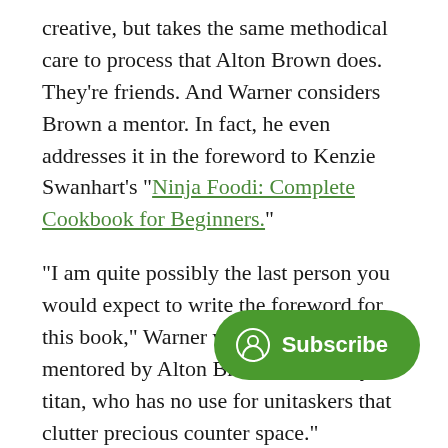creative, but takes the same methodical care to process that Alton Brown does. They're friends. And Warner considers Brown a mentor. In fact, he even addresses it in the foreword to Kenzie Swanhart's "Ninja Foodi: Complete Cookbook for Beginners."
"I am quite possibly the last person you would expect to write the foreword for this book," Warner writes. "I was mentored by Alton Brown, a culinary titan, who has no use for unitaskers that clutter precious counter space."
Warner goes on to write about how he was skeptical initially about the electric pressure cooker fad. In fact, that same skepticism lead to him working with Swanhart (who wrote the aforementioned cookbook) and the develop the Foodi.
In his foreword, Warner laments the problems current